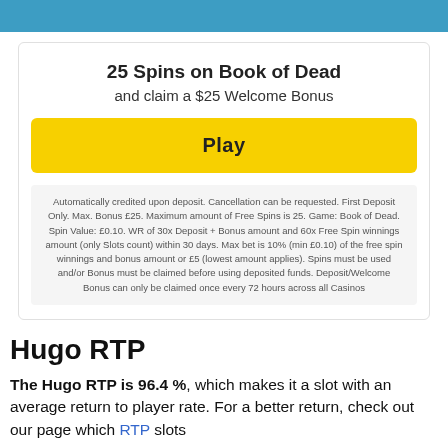25 Spins on Book of Dead
and claim a $25 Welcome Bonus
Play
Automatically credited upon deposit. Cancellation can be requested. First Deposit Only. Max. Bonus £25. Maximum amount of Free Spins is 25. Game: Book of Dead. Spin Value: £0.10. WR of 30x Deposit + Bonus amount and 60x Free Spin winnings amount (only Slots count) within 30 days. Max bet is 10% (min £0.10) of the free spin winnings and bonus amount or £5 (lowest amount applies). Spins must be used and/or Bonus must be claimed before using deposited funds. Deposit/Welcome Bonus can only be claimed once every 72 hours across all Casinos
Hugo RTP
The Hugo RTP is 96.4 %, which makes it a slot with an average return to player rate. For a better return, check out our page which RTP slots